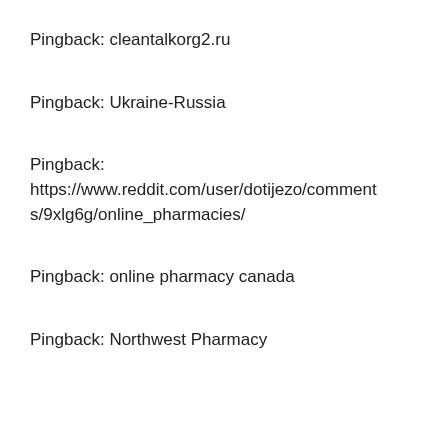Pingback: cleantalkorg2.ru
Pingback: Ukraine-Russia
Pingback: https://www.reddit.com/user/dotijezo/comments/9xlg6g/online_pharmacies/
Pingback: online pharmacy canada
Pingback: Northwest Pharmacy